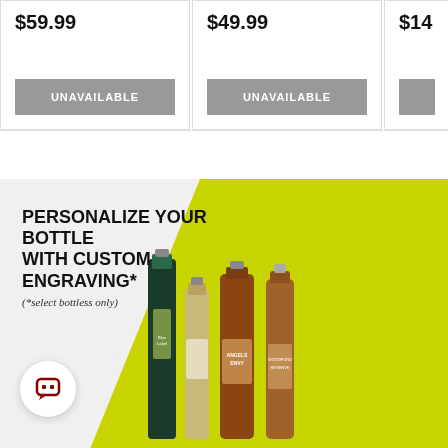$59.99
UNAVAILABLE
$49.99
UNAVAILABLE
$14...
[Figure (illustration): Promotional banner for bottle engraving service showing liquor bottles including Johnnie Walker Blue Label, a tequila bottle, Angels Envy, and Woodford Reserve on a yellow diagonal stripe background]
PERSONALIZE YOUR BOTTLE WITH CUSTOM ENGRAVING*
(*select bottless only)